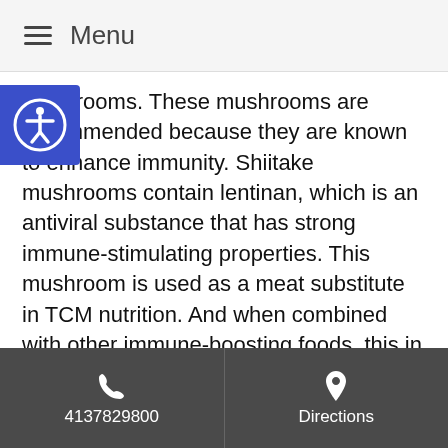Menu
mushrooms. These mushrooms are recommended because they are known to enhance immunity. Shiitake mushrooms contain lentinan, which is an antiviral substance that has strong immune-stimulating properties. This mushroom is used as a meat substitute in TCM nutrition. And when combined with other immune-boosting foods, this in itself can make for a very healthy meal.
Lastly, a practice known as meditation should be considered when low white blood cell count is present. While meditation is not specific to TCM, it is frequently prescribed and used by TCM practitioners. Mediation is a practice that helps calm the mind and the nervous system. When the nervous system is overstimulated, it
4137829800   Directions